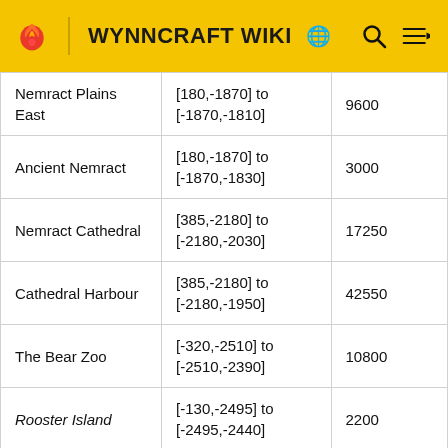WYNNCRAFT WIKI
| Location | Coordinates | Value |
| --- | --- | --- |
| Nemract Plains East | [180,-1870] to [-1870,-1810] | 9600 |
| Ancient Nemract | [180,-1870] to [-1870,-1830] | 3000 |
| Nemract Cathedral | [385,-2180] to [-2180,-2030] | 17250 |
| Cathedral Harbour | [385,-2180] to [-2180,-1950] | 42550 |
| The Bear Zoo | [-320,-2510] to [-2510,-2390] | 10800 |
| Rooster Island | [-130,-2495] to [-2495,-2440] | 2200 |
| Zhight Island | [-520,-2870] to [-2870,-2795] | 6000 |